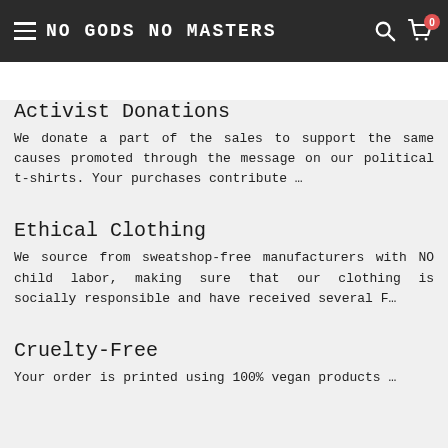NO GODS NO MASTERS
Activist Donations
We donate a part of the sales to support the same causes promoted through the message on our political t-shirts. Your purchases contribute …
Ethical Clothing
We source from sweatshop-free manufacturers with NO child labor, making sure that our clothing is socially responsible and have received several F…
Cruelty-Free
Your order is printed using 100% vegan products …